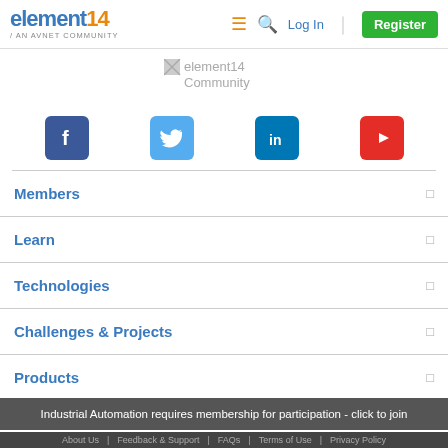element14 / AN AVNET COMMUNITY — Log In | Register
[Figure (logo): element14 Community logo placeholder image]
[Figure (infographic): Social media icons: Facebook, Twitter, LinkedIn, YouTube]
Members
Learn
Technologies
Challenges & Projects
Products
Store
Industrial Automation requires membership for participation - click to join
About Us | Feedback & Support | FAQs | Terms of Use | Privacy Policy